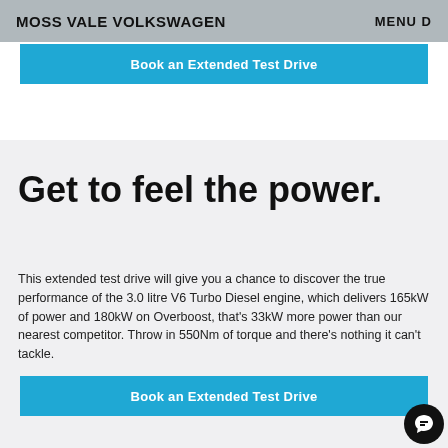MOSS VALE VOLKSWAGEN  MENU D
Book an Extended Test Drive
Get to feel the power.
This extended test drive will give you a chance to discover the true performance of the 3.0 litre V6 Turbo Diesel engine, which delivers 165kW of power and 180kW on Overboost, that's 33kW more power than our nearest competitor. Throw in 550Nm of torque and there's nothing it can't tackle.
Book an Extended Test Drive